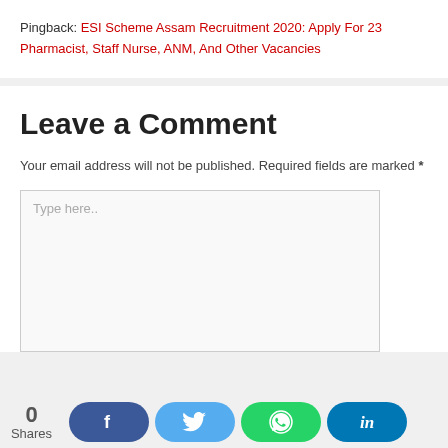Pingback: ESI Scheme Assam Recruitment 2020: Apply For 23 Pharmacist, Staff Nurse, ANM, And Other Vacancies
Leave a Comment
Your email address will not be published. Required fields are marked *
Type here..
0 Shares